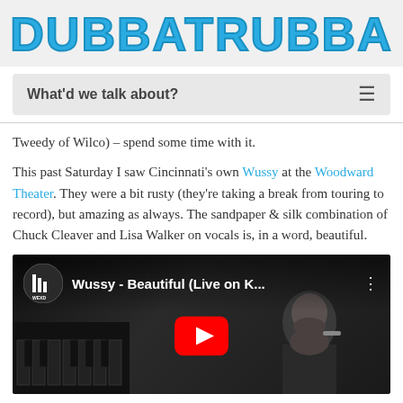DUBBATRUBBA
What'd we talk about?
Tweedy of Wilco) – spend some time with it.
This past Saturday I saw Cincinnati's own Wussy at the Woodward Theater. They were a bit rusty (they're taking a break from touring to record), but amazing as always. The sandpaper & silk combination of Chuck Cleaver and Lisa Walker on vocals is, in a word, beautiful.
[Figure (screenshot): YouTube video thumbnail showing 'Wussy - Beautiful (Live on K...' with WEXD logo on left, three vertical dots on right, and a red YouTube play button in center over a dark photo of a bearded man singing into a microphone with keyboard in foreground]